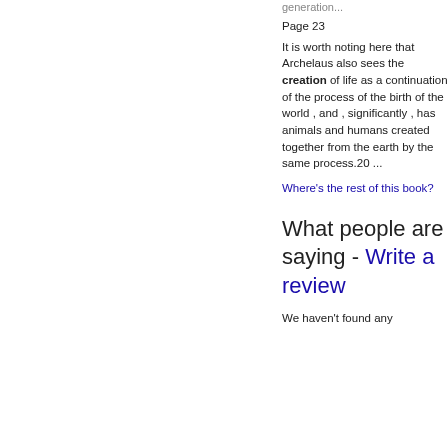generation...
Page 23
It is worth noting here that Archelaus also sees the creation of life as a continuation of the process of the birth of the world , and , significantly , has animals and humans created together from the earth by the same process.20 ...
Where's the rest of this book?
What people are saying - Write a review
We haven't found any